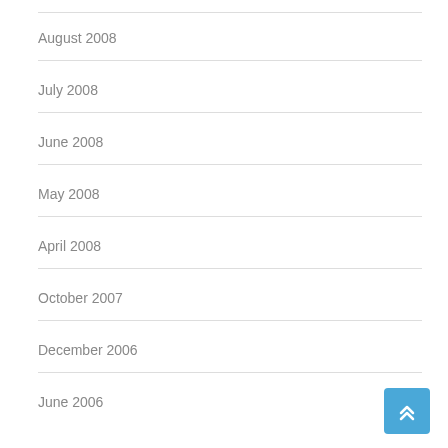August 2008
July 2008
June 2008
May 2008
April 2008
October 2007
December 2006
June 2006